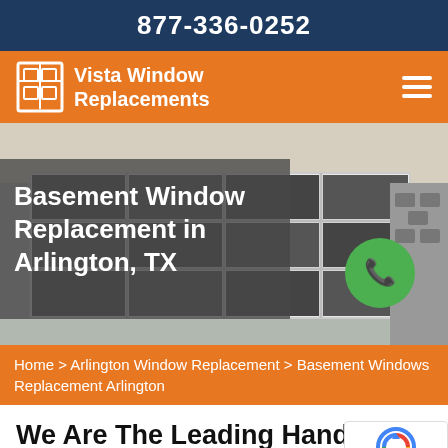877-336-0252
Vista Window Replacements
[Figure (screenshot): Hero image of basement windows on a house exterior with semi-transparent dark overlay containing the page title text and a green phone call button]
Basement Window Replacement in Arlington, TX
Home > Arlington Window Replacement > Basement Windows Replacement Arlington
We Are The Leading Handyman Providing Services of Basement